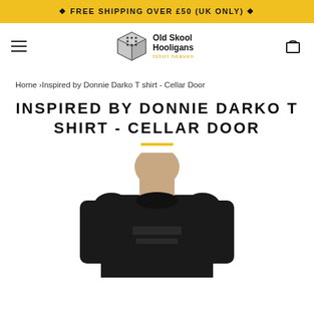✦ FREE SHIPPING OVER £50 (UK ONLY) ✦
[Figure (logo): Old Skool Hooligans logo with dice icon and 'tshirt heaven' tagline]
Home › Inspired by Donnie Darko T shirt - Cellar Door
INSPIRED BY DONNIE DARKO T SHIRT - CELLAR DOOR
[Figure (photo): Person wearing a black long-sleeve t-shirt, photographed from chest up against white background]